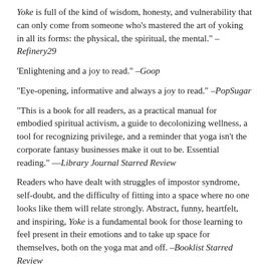Yoke is full of the kind of wisdom, honesty, and vulnerability that can only come from someone who's mastered the art of yoking in all its forms: the physical, the spiritual, the mental." – Refinery29
'Enlightening and a joy to read." –Goop
"Eye-opening, informative and always a joy to read." –PopSugar
"This is a book for all readers, as a practical manual for embodied spiritual activism, a guide to decolonizing wellness, a tool for recognizing privilege, and a reminder that yoga isn't the corporate fantasy businesses make it out to be. Essential reading." —Library Journal Starred Review
Readers who have dealt with struggles of impostor syndrome, self-doubt, and the difficulty of fitting into a space where no one looks like them will relate strongly. Abstract, funny, heartfelt, and inspiring, Yoke is a fundamental book for those learning to feel present in their emotions and to take up space for themselves, both on the yoga mat and off. –Booklist Starred Review